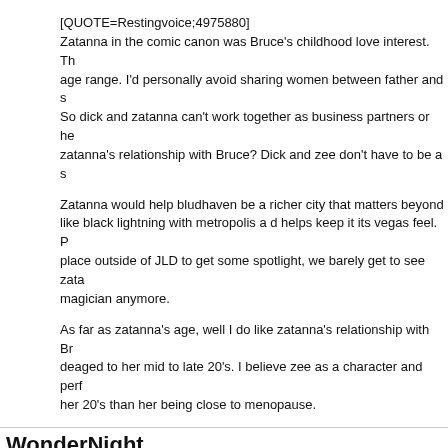[QUOTE=Restingvoice;4975880]
Zatanna in the comic canon was Bruce's childhood love interest. Th age range. I'd personally avoid sharing women between father and s So dick and zatanna can't work together as business partners or he zatanna's relationship with Bruce? Dick and zee don't have to be a s

Zatanna would help bludhaven be a richer city that matters beyond like black lightning with metropolis a d helps keep it its vegas feel. P place outside of JLD to get some spotlight, we barely get to see zata magician anymore.

As far as zatanna's age, well I do like zatanna's relationship with Br deaged to her mid to late 20's. I believe zee as a character and perf her 20's than her being close to menopause.
WonderNight
[QUOTE=Godlike13;4976827]You guys are going to love this idea b Nightwing/Batgirl book might not be the worse idea. Both books num and apathy have not been kind. So it's not like a simple relaunch is general audiences at this point. Nightwing/Batgirl potentially pools th generally favorable, while also combines the work load for an office work ethic or capacity to properly support multiple books.[/QUOTE]S back to Gotham and change his name to Ratboy and we're good.